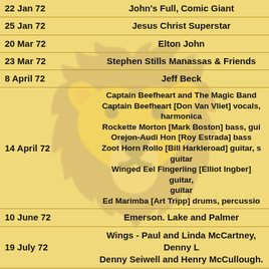| Date | Act |
| --- | --- |
| 22 Jan 72 | John's Full, Comic Giant |
| 25 Jan 72 | Jesus Christ Superstar |
| 20 Mar 72 | Elton John |
| 23 Mar 72 | Stephen Stills Manassas & Friends |
| 8 April 72 | Jeff Beck |
| 14 April 72 | Captain Beefheart and The Magic Band
Captain Beefheart [Don Van Vliet] vocals, harmonica
Rockette Morton [Mark Boston] bass, guitar
Orejon-Audi Hon [Roy Estrada] bass
Zoot Horn Rollo [Bill Harkleroad] guitar, slide guitar
Winged Eel Fingerling [Elliot Ingber] guitar, guitar
Ed Marimba [Art Tripp] drums, percussion |
| 10 June 72 | Emerson. Lake and Palmer |
| 19 July 72 | Wings - Paul and Linda McCartney, Denny Laine,
Denny Seiwell and Henry McCullough. |
| 26 April 72 | Grateful Dead |
| 29 April 72 | The Doors |
| 9 May 72 | Joni Mitchell, Jackson Browne |